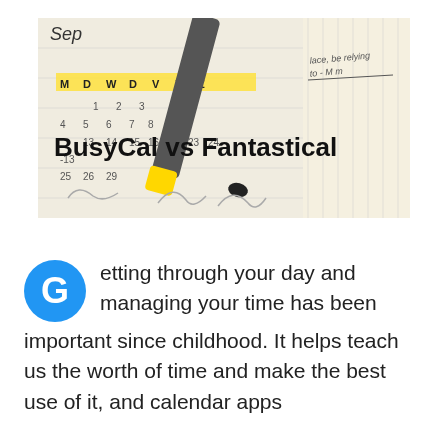[Figure (photo): Photo of a paper calendar/planner with handwritten dates and a yellow-and-black marker/highlighter pen on top. Text overlay reads 'BusyCal vs Fantastical' in bold black letters.]
Getting through your day and managing your time has been important since childhood. It helps teach us the worth of time and make the best use of it, and calendar apps